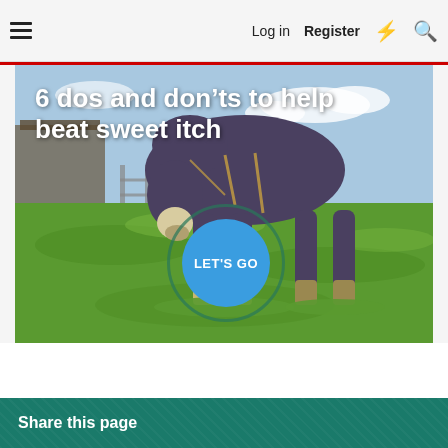☰  Log in  Register  ⚡  🔍
[Figure (photo): A horse wearing a blue fly rug and nose cover, grazing on bright green grass in a paddock. A blue circle button reading 'LET'S GO' overlays the lower center of the image.]
6 dos and don'ts to help beat sweet itch
LET'S GO
Share this page